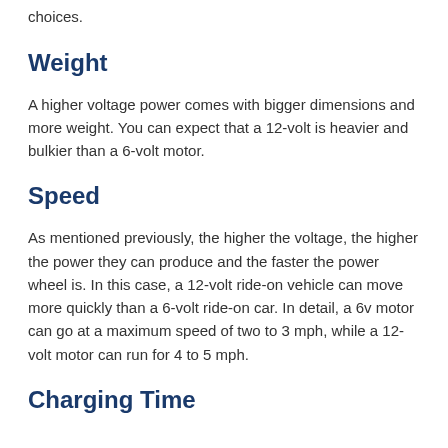choices.
Weight
A higher voltage power comes with bigger dimensions and more weight. You can expect that a 12-volt is heavier and bulkier than a 6-volt motor.
Speed
As mentioned previously, the higher the voltage, the higher the power they can produce and the faster the power wheel is. In this case, a 12-volt ride-on vehicle can move more quickly than a 6-volt ride-on car. In detail, a 6v motor can go at a maximum speed of two to 3 mph, while a 12-volt motor can run for 4 to 5 mph.
Charging Time